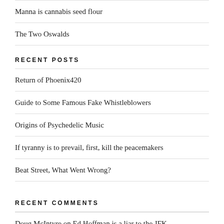Manna is cannabis seed flour
The Two Oswalds
RECENT POSTS
Return of Phoenix420
Guide to Some Famous Fake Whistleblowers
Origins of Psychedelic Music
If tyranny is to prevail, first, kill the peacemakers
Beat Street, What Went Wrong?
RECENT COMMENTS
Doug McIntyre on Ed Hoffman is a liar to the JFK